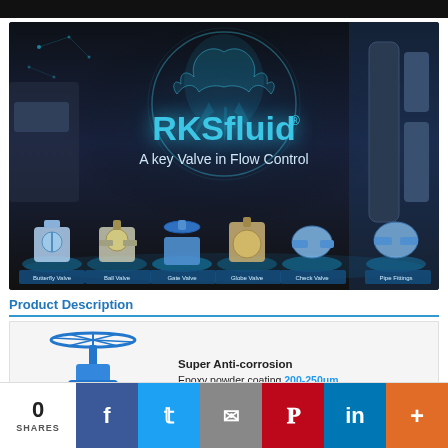[Figure (photo): RKSfluid brand banner showing industrial valves with phoenix logo, tagline 'A key Valve in Flow Control', and product lineup including Butterfly Valve, Ball Valve, Gate Valve, Globe Valve, Check Valve, Pipe Fittings]
Product Description
[Figure (photo): Blue gate valve product photo]
Super Anti-corrosion
Epoxy powder coating 200-250μm,
0 SHARES  [Facebook] [Twitter] [Email] [Pinterest] [LinkedIn] [+]